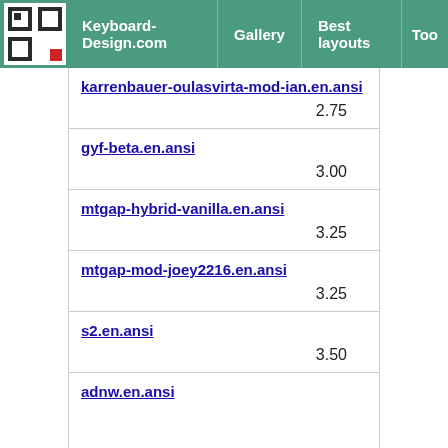Keyboard-Design.com | Gallery | Best layouts | Too
karrenbauer-oulasvirta-mod-ian.en.ansi
2.75
gyf-beta.en.ansi
3.00
mtgap-hybrid-vanilla.en.ansi
3.25
mtgap-mod-joey2216.en.ansi
3.25
s2.en.ansi
3.50
adnw.en.ansi